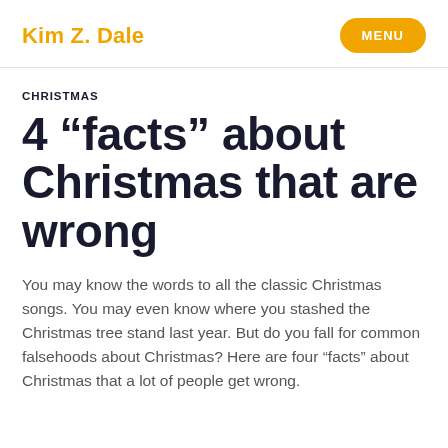Kim Z. Dale | MENU
CHRISTMAS
4 “facts” about Christmas that are wrong
You may know the words to all the classic Christmas songs. You may even know where you stashed the Christmas tree stand last year. But do you fall for common falsehoods about Christmas? Here are four “facts” about Christmas that a lot of people get wrong.